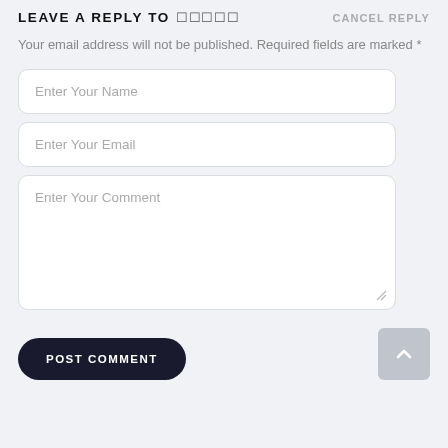LEAVE A REPLY TO ￼￼￼￼￼  CANCEL REPLY
Your email address will not be published. Required fields are marked *
[Figure (screenshot): Comment reply form with three input fields: 'Enter Your Name', 'Enter Your Email', 'Enter Your Comment' (textarea), and a 'POST COMMENT' button.]